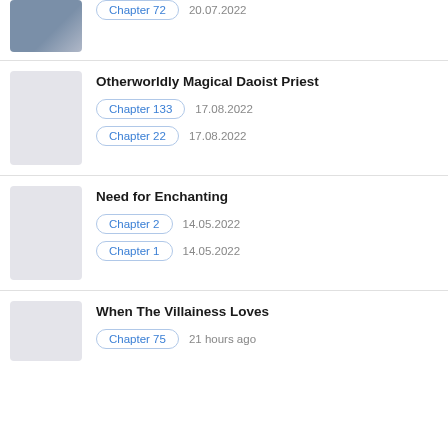[Figure (screenshot): Partial top entry with manga cover thumbnail (person with headphones) and Chapter 72 badge dated 20.07.2022]
Otherworldly Magical Daoist Priest — Chapter 133: 17.08.2022, Chapter 22: 17.08.2022
Need for Enchanting — Chapter 2: 14.05.2022, Chapter 1: 14.05.2022
When The Villainess Loves — Chapter 75: 21 hours ago